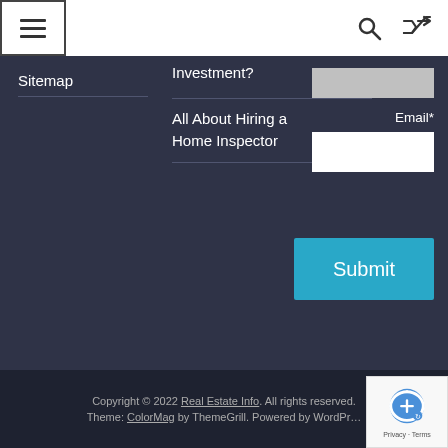Navigation bar with hamburger menu, search and shuffle icons
Sitemap
Investment?
All About Hiring a Home Inspector
Email*
Submit
Copyright © 2022 Real Estate Info. All rights reserved. Theme: ColorMag by ThemeGrill. Powered by WordPress.